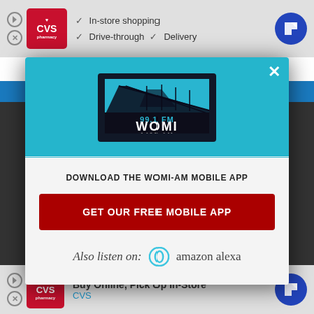[Figure (screenshot): Top CVS pharmacy advertisement banner with checkmarks listing: In-store shopping, Drive-through, Delivery]
[Figure (screenshot): WOMI radio station mobile app download modal popup with 99.1 FM WOMI 1490 AM logo on teal background, download button, and Amazon Alexa option]
DOWNLOAD THE WOMI-AM MOBILE APP
GET OUR FREE MOBILE APP
Also listen on: amazon alexa
[Figure (screenshot): Bottom CVS pharmacy advertisement: Buy Online, Pick Up In-Store - CVS]